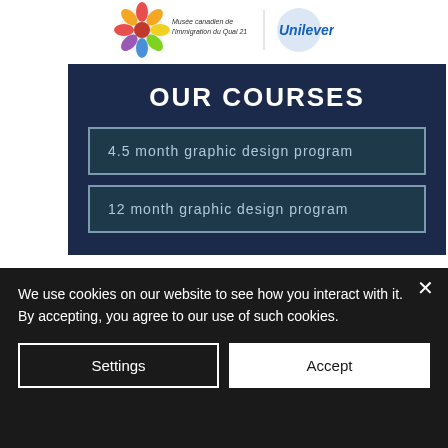[Figure (logo): Two logos: Musée canadien de l'immigration du Quai 21 (colorful flower logo) and Unilever (blue circular logo)]
OUR COURSES
4.5 month graphic design program
12 month graphic design program
OUR STUDY PORTAL
We use cookies on our website to see how you interact with it. By accepting, you agree to our use of such cookies.
Settings
Accept